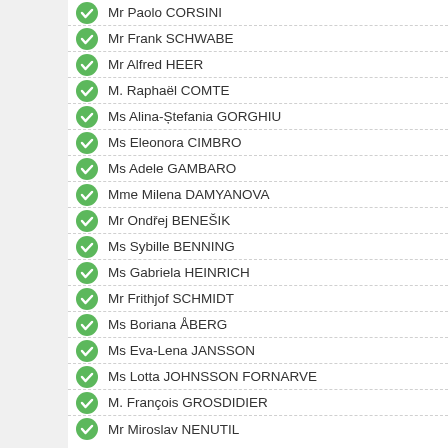Mr Paolo CORSINI
Mr Frank SCHWABE
Mr Alfred HEER
M. Raphaël COMTE
Ms Alina-Ștefania GORGHIU
Ms Eleonora CIMBRO
Ms Adele GAMBARO
Mme Milena DAMYANOVA
Mr Ondřej BENEŠIK
Ms Sybille BENNING
Ms Gabriela HEINRICH
Mr Frithjof SCHMIDT
Ms Boriana ÅBERG
Ms Eva-Lena JANSSON
Ms Lotta JOHNSSON FORNARVE
M. François GROSDIDIER
Mr Miroslav NENUTIL